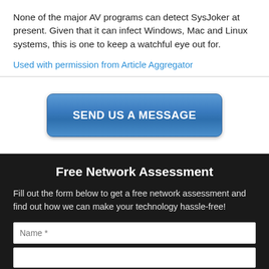None of the major AV programs can detect SysJoker at present. Given that it can infect Windows, Mac and Linux systems, this is one to keep a watchful eye out for.
Used with permission from Article Aggregator
[Figure (other): Blue gradient button with white bold text reading SEND US A MESSAGE]
Free Network Assessment
Fill out the form below to get a free network assessment and find out how we can make your technology hassle-free!
Name *